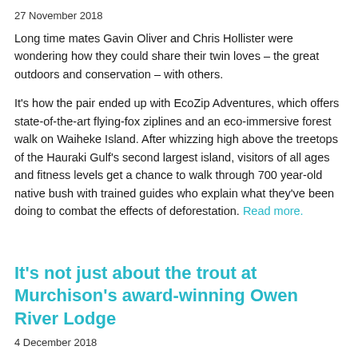27 November 2018
Long time mates Gavin Oliver and Chris Hollister were wondering how they could share their twin loves – the great outdoors and conservation – with others.
It's how the pair ended up with EcoZip Adventures, which offers state-of-the-art flying-fox ziplines and an eco-immersive forest walk on Waiheke Island. After whizzing high above the treetops of the Hauraki Gulf's second largest island, visitors of all ages and fitness levels get a chance to walk through 700 year-old native bush with trained guides who explain what they've been doing to combat the effects of deforestation. Read more.
It's not just about the trout at Murchison's award-winning Owen River Lodge
4 December 2018